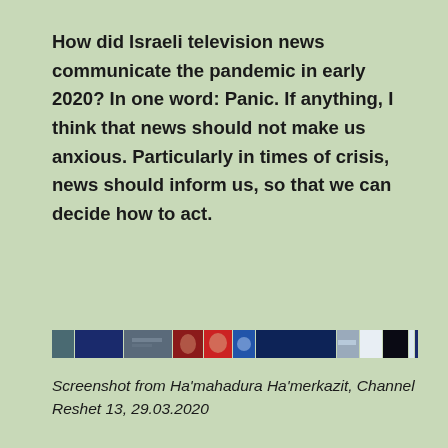How did Israeli television news communicate the pandemic in early 2020? In one word: Panic. If anything, I think that news should not make us anxious. Particularly in times of crisis, news should inform us, so that we can decide how to act.
[Figure (screenshot): A narrow horizontal strip showing multiple television news screenshots side by side, depicting various news broadcasts with people, graphics, and text overlays in blue, red, white, and dark tones.]
Screenshot from Ha'mahadura Ha'merkazit, Channel Reshet 13, 29.03.2020